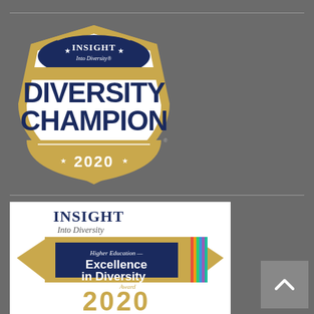[Figure (logo): INSIGHT Into Diversity Diversity Champion 2020 badge/seal - shield shape in gold and navy blue with stars]
[Figure (logo): INSIGHT Into Diversity Higher Education Excellence in Diversity Award 2020 - gold arrow/chevron shape with navy blue text on white background]